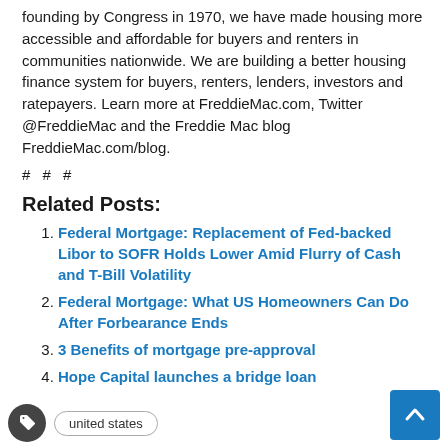founding by Congress in 1970, we have made housing more accessible and affordable for buyers and renters in communities nationwide. We are building a better housing finance system for buyers, renters, lenders, investors and ratepayers. Learn more at FreddieMac.com, Twitter @FreddieMac and the Freddie Mac blog FreddieMac.com/blog.
# # #
Related Posts:
Federal Mortgage: Replacement of Fed-backed Libor to SOFR Holds Lower Amid Flurry of Cash and T-Bill Volatility
Federal Mortgage: What US Homeowners Can Do After Forbearance Ends
3 Benefits of mortgage pre-approval
Hope Capital launches a bridge loan
united states